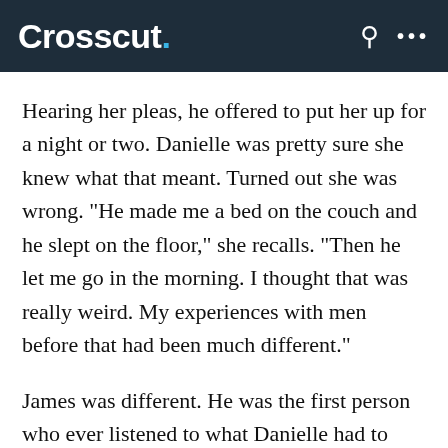Crosscut.
Hearing her pleas, he offered to put her up for a night or two. Danielle was pretty sure she knew what that meant. Turned out she was wrong. "He made me a bed on the couch and he slept on the floor," she recalls. "Then he let me go in the morning. I thought that was really weird. My experiences with men before that had been much different."
James was different. He was the first person who ever listened to what Danielle had to say, the first to point out her strengths and the first person to offer genuine help. He